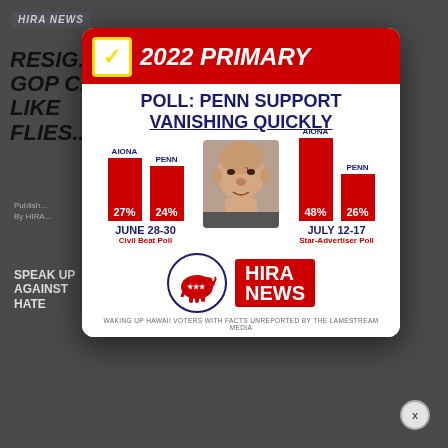HIRA NEWS
RESIG... HAWAII GOP C... LIKE FLIES...
[Figure (infographic): HIRA News branded infographic card showing 2022 Primary poll results. Header: checkbox icon + '2022 PRIMARY' in red. Subheader: 'POLL: PENN SUPPORT VANISHING QUICKLY'. Two grouped bar charts side by side. Left (June 28-30, Civil Beat Poll): AIONA 27%, PENN 24%. Right (July 12-17, Star-Advertiser Poll): AIONA 48%, PENN 26%. Center photo of BJ Penn. HIRA NEWS logo at bottom. Tagline: WAKING UP HAWAII VOTERS WITH FACTS UNREPORTED BY THE LAMESTREAM MEDIA.]
WAKING UP HAWAII VOTERS WITH FACTS UNREPORTED BY THE LAMESTREAM MEDIA